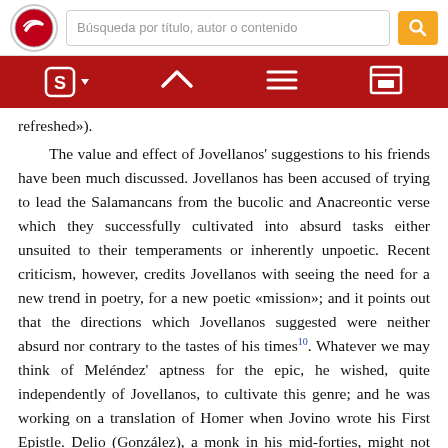Búsqueda por título, autor o contenido
refreshed»).
The value and effect of Jovellanos' suggestions to his friends have been much discussed. Jovellanos has been accused of trying to lead the Salamancans from the bucolic and Anacreontic verse which they successfully cultivated into absurd tasks either unsuited to their temperaments or inherently unpoetic. Recent criticism, however, credits Jovellanos with seeing the need for a new trend in poetry, for a new poetic «mission»; and it points out that the directions which Jovellanos suggested were neither absurd nor contrary to the tastes of his times10. Whatever we may think of Meléndez' aptness for the epic, he wished, quite independently of Jovellanos, to cultivate this genre; and he was working on a translation of Homer when Jovino wrote his First Epistle. Delio (González), a monk in his mid-forties, might not unreasonably be asked to forsake erotic poetry for philosophy and religion. In effect, Jovellanos, as